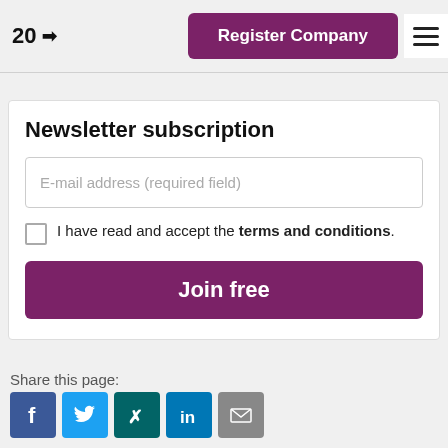20 → Register Company
Newsletter subscription
E-mail address (required field)
I have read and accept the terms and conditions.
Join free
Share this page:
[Figure (infographic): Social sharing icons: Facebook, Twitter, Xing, LinkedIn, Email]